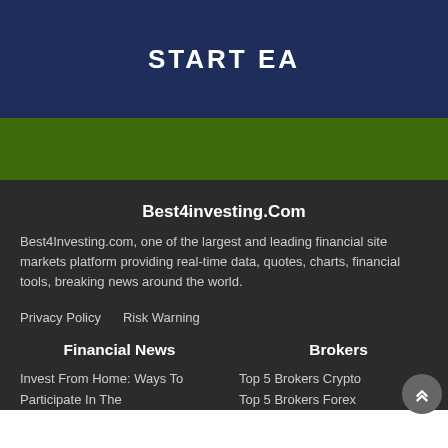START EA
Best4investing.Com
Best4Investing.com, one of the largest and leading financial site markets platform providing real-time data, quotes, charts, financial tools, breaking news around the world.
Privacy Policy
Risk Warning
Financial News
Brokers
Invest From Home: Ways To Participate In The
Top 5 Brokers Crypto
Top 5 Brokers Forex